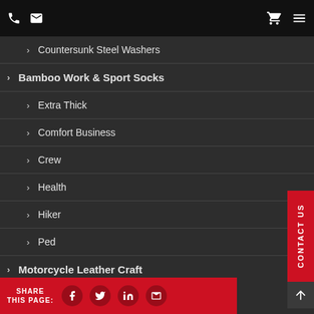Navigation header with phone, email, cart, and menu icons
Countersunk Steel Washers
Bamboo Work & Sport Socks
Extra Thick
Comfort Business
Crew
Health
Hiker
Ped
Motorcycle Leather Craft
Braiding
Patches Sewn On
SHARE THIS PAGE: